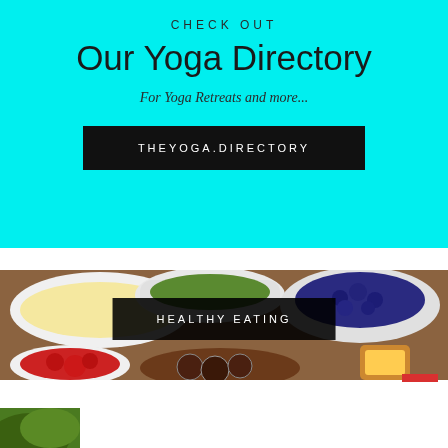CHECK OUT
Our Yoga Directory
For Yoga Retreats and more...
THEYOGA.DIRECTORY
[Figure (photo): Overhead view of healthy food including popcorn, cucumbers, blueberries, strawberries, and chocolate energy balls in white bowls on a wooden surface]
HEALTHY EATING